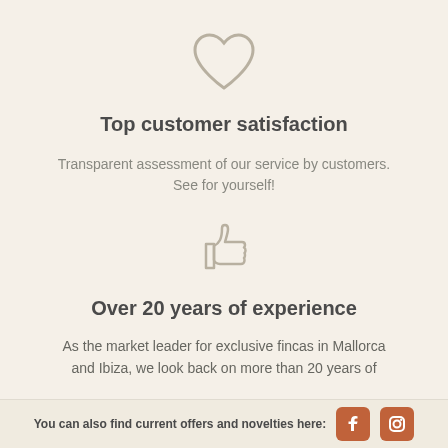[Figure (illustration): Heart outline icon in light gray/beige color]
Top customer satisfaction
Transparent assessment of our service by customers. See for yourself!
[Figure (illustration): Thumbs up / like icon in light gray/beige color]
Over 20 years of experience
As the market leader for exclusive fincas in Mallorca and Ibiza, we look back on more than 20 years of
You can also find current offers and novelties here: